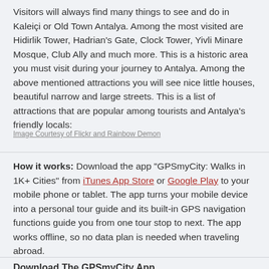Visitors will always find many things to see and do in Kaleiçi or Old Town Antalya. Among the most visited are Hidirlik Tower, Hadrian's Gate, Clock Tower, Yivli Minare Mosque, Club Ally and much more. This is a historic area you must visit during your journey to Antalya. Among the above mentioned attractions you will see nice little houses, beautiful narrow and large streets. This is a list of attractions that are popular among tourists and Antalya's friendly locals:
Image Courtesy of Flickr and Rainbow Demon
How it works: Download the app "GPSmyCity: Walks in 1K+ Cities" from iTunes App Store or Google Play to your mobile phone or tablet. The app turns your mobile device into a personal tour guide and its built-in GPS navigation functions guide you from one tour stop to next. The app works offline, so no data plan is needed when traveling abroad.
Download The GPSmyCity App